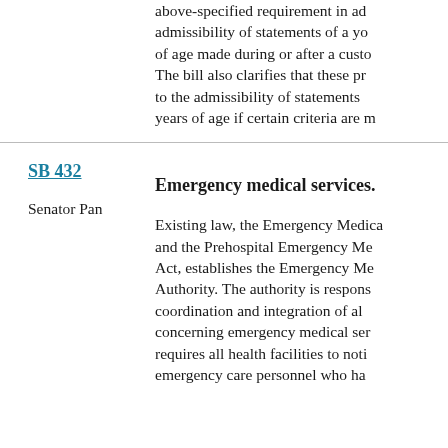above-specified requirement in ad… admissibility of statements of a yo… of age made during or after a custo… The bill also clarifies that these pr… to the admissibility of statements… years of age if certain criteria are m…
SB 432
Emergency medical services.
Senator Pan
Existing law, the Emergency Medica… and the Prehospital Emergency Me… Act, establishes the Emergency Me… Authority. The authority is respons… coordination and integration of al… concerning emergency medical se… requires all health facilities to noti… emergency care personnel who ha…